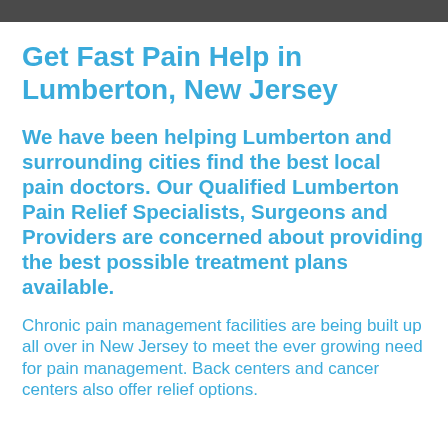Get Fast Pain Help in Lumberton, New Jersey
We have been helping Lumberton and surrounding cities find the best local pain doctors. Our Qualified Lumberton Pain Relief Specialists, Surgeons and Providers are concerned about providing the best possible treatment plans available.
Chronic pain management facilities are being built up all over in New Jersey to meet the ever growing need for pain management. Back centers and cancer centers also offer relief options.